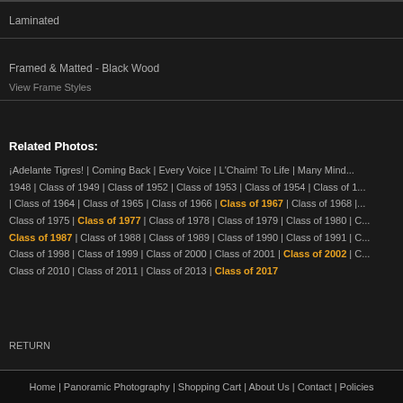Laminated
Framed & Matted - Black Wood
View Frame Styles
Related Photos:
¡Adelante Tigres! | Coming Back | Every Voice | L'Chaim! To Life | Many Minds | Class of 1948 | Class of 1949 | Class of 1952 | Class of 1953 | Class of 1954 | Class of 1... | Class of 1964 | Class of 1965 | Class of 1966 | Class of 1967 | Class of 1968 | Class of 1975 | Class of 1977 | Class of 1978 | Class of 1979 | Class of 1980 | C... | Class of 1987 | Class of 1988 | Class of 1989 | Class of 1990 | Class of 1991 | C... | Class of 1998 | Class of 1999 | Class of 2000 | Class of 2001 | Class of 2002 | C... | Class of 2010 | Class of 2011 | Class of 2013 | Class of 2017
RETURN
Home | Panoramic Photography | Shopping Cart | About Us | Contact | Policies